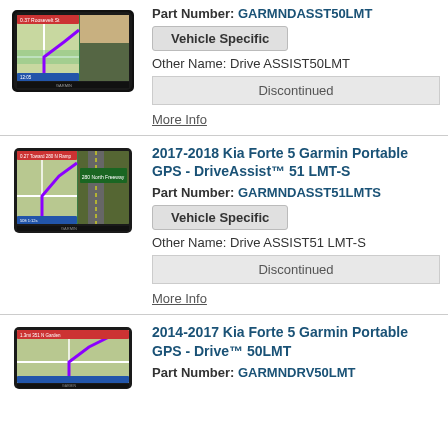[Figure (photo): Garmin GPS device showing navigation map screen]
Part Number: GARMNDASST50LMT
Vehicle Specific
Other Name: Drive ASSIST50LMT
Discontinued
More Info
[Figure (photo): Garmin GPS device showing navigation map with highway view]
2017-2018 Kia Forte 5 Garmin Portable GPS - DriveAssist™ 51 LMT-S
Part Number: GARMNDASST51LMTS
Vehicle Specific
Other Name: Drive ASSIST51 LMT-S
Discontinued
More Info
[Figure (photo): Garmin GPS device showing navigation map]
2014-2017 Kia Forte 5 Garmin Portable GPS - Drive™ 50LMT
Part Number: GARMNDRV50LMT